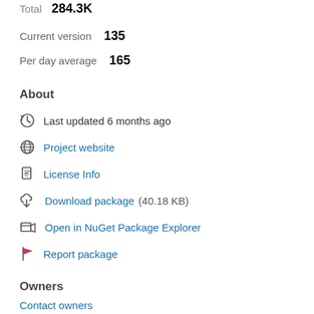Total  284.3K
Current version  135
Per day average  165
About
Last updated 6 months ago
Project website
License Info
Download package  (40.18 KB)
Open in NuGet Package Explorer
Report package
Owners
Contact owners